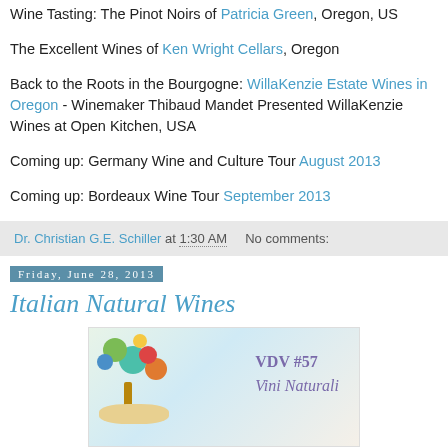Wine Tasting: The Pinot Noirs of Patricia Green, Oregon, US
The Excellent Wines of Ken Wright Cellars, Oregon
Back to the Roots in the Bourgogne: WillaKenzie Estate Wines in Oregon - Winemaker Thibaud Mandet Presented WillaKenzie Wines at Open Kitchen, USA
Coming up: Germany Wine and Culture Tour August 2013
Coming up: Bordeaux Wine Tour September 2013
Dr. Christian G.E. Schiller at 1:30 AM   No comments:
Friday, June 28, 2013
Italian Natural Wines
[Figure (illustration): Colorful illustration with tree-like shapes and text VDV #57 Vini Naturali]